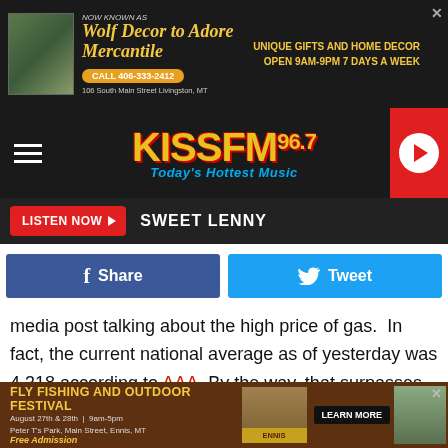[Figure (screenshot): Top advertisement banner for Wolf Decor to Adore Mercantile. NOW KNOWN AS Wolf Decor to Adore Mercantile. CALL 406-333-2412. 106 South Main Street Livingston, MT. UNIQUE GIFTS AND HOME DECOR OPEN 9AM-9PM 7 DAYS A WEEK.]
[Figure (logo): KISS FM 96.7 radio station logo with tagline Today's Hottest Music. Dark background with hamburger menu on left and red play button on right.]
LISTEN NOW  SWEET LENNY
[Figure (screenshot): Facebook Share and Twitter Tweet social sharing buttons]
media post talking about the high price of gas.  In fact, the current national average as of yesterday was 4.318 according to AAA. By the way, that surpasses the price back in the summer of 2008, which at the time was the highest per-gallon cost America had ever seen.

Here in Montana, we're right at 4 bucks a gallon for a state average.
[Figure (screenshot): Bottom advertisement for FLY FISHING AND OUTDOOR FESTIVAL. August 27th & 28th | 9am-5pm. Peter T's Park, Main Street, Ennis, MT. Free Admission. LEARN MORE. Ennis logo.]